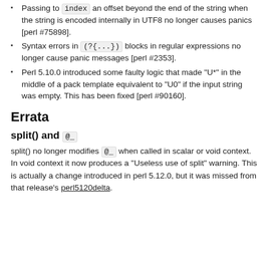Passing to index an offset beyond the end of the string when the string is encoded internally in UTF8 no longer causes panics [perl #75898].
Syntax errors in (?{...}) blocks in regular expressions no longer cause panic messages [perl #2353].
Perl 5.10.0 introduced some faulty logic that made "U*" in the middle of a pack template equivalent to "U0" if the input string was empty. This has been fixed [perl #90160].
Errata
split() and @_
split() no longer modifies @_ when called in scalar or void context. In void context it now produces a "Useless use of split" warning. This is actually a change introduced in perl 5.12.0, but it was missed from that release's perl5120delta.